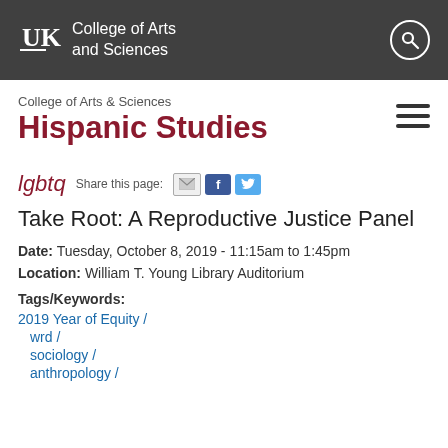UK College of Arts and Sciences
College of Arts & Sciences
Hispanic Studies
lgbtq  Share this page:
Take Root: A Reproductive Justice Panel
Date: Tuesday, October 8, 2019 - 11:15am to 1:45pm
Location: William T. Young Library Auditorium
Tags/Keywords:
2019 Year of Equity /
wrd /
sociology /
anthropology /